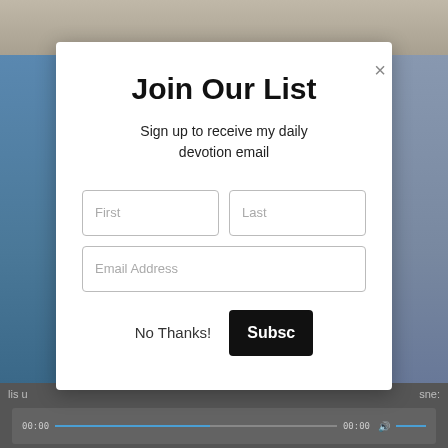[Figure (screenshot): Background showing a blurred person photo with a video player bar at the bottom showing timestamps 00:00 on both sides]
Join Our List
Sign up to receive my daily devotion email
First
Last
Email Address
No Thanks!
Subsc